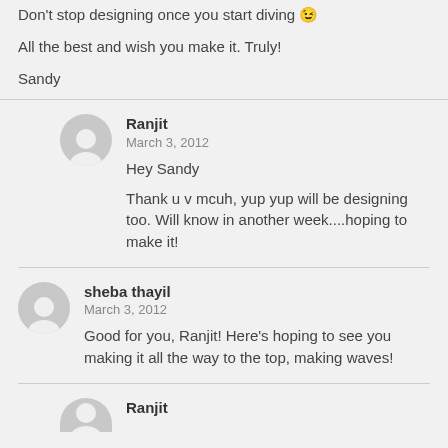Don't stop designing once you start diving 😉
All the best and wish you make it. Truly!
Sandy
Ranjit
March 3, 2012
Hey Sandy
Thank u v mcuh, yup yup will be designing too. Will know in another week....hoping to make it!
sheba thayil
March 3, 2012
Good for you, Ranjit! Here's hoping to see you making it all the way to the top, making waves!
Ranjit